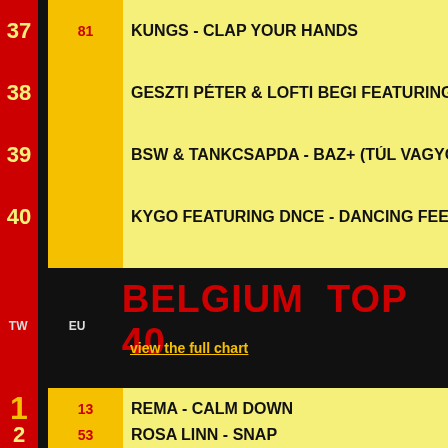37 | 81 | KUNGS - CLAP YOUR HANDS
38 | | GESZTI PÉTER & LOFTI BEGI FEATURING ...
39 | | BSW & TANKCSAPDA - BAZ+ (TÚL VAGYON...
40 | | KYGO FEATURING DNCE - DANCING FEET
BELGIUM TOP 40
view the full chart
1 | 13 | REMA - CALM DOWN
2 | 53 | ROSA LINN - SNAP